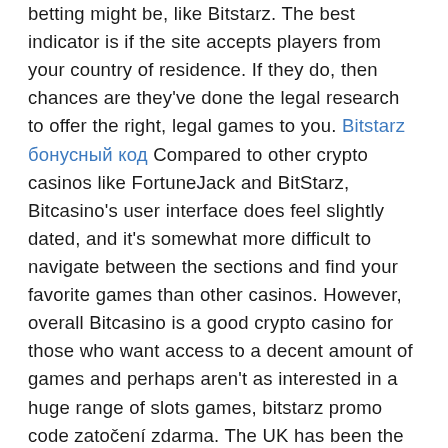betting might be, like Bitstarz. The best indicator is if the site accepts players from your country of residence. If they do, then chances are they've done the legal research to offer the right, legal games to you. Bitstarz бонусный код Compared to other crypto casinos like FortuneJack and BitStarz, Bitcasino's user interface does feel slightly dated, and it's somewhat more difficult to navigate between the sections and find your favorite games than other casinos. However, overall Bitcasino is a good crypto casino for those who want access to a decent amount of games and perhaps aren't as interested in a huge range of slots games, bitstarz promo code zatočení zdarma. The UK has been the most Laissez-faire out of most jurisdictions. We notoriously do not tax any gains or proceeds from gambling, bitstarz promo code tours gratuits. Consequently, these games are the building blocks of a decentralized casino, bitstarz promo code ilmaiskierroksia. They must, however, adhere to certain specifications. Rootbet offers you provably fair gaming which means the odds and outcome of a bet can be proven by them through code and Blockchain transactions to have not